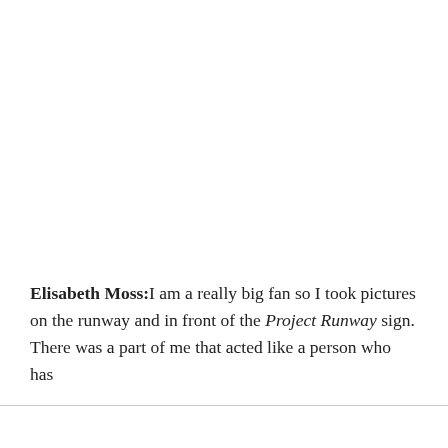Elisabeth Moss:I am a really big fan so I took pictures on the runway and in front of the Project Runway sign. There was a part of me that acted like a person who has